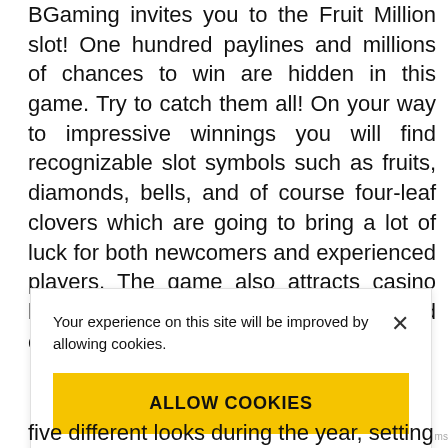BGaming invites you to the Fruit Million slot! One hundred paylines and millions of chances to win are hidden in this game. Try to catch them all! On your way to impressive winnings you will find recognizable slot symbols such as fruits, diamonds, bells, and of course four-leaf clovers which are going to bring a lot of luck for both newcomers and experienced players. The game also attracts casino lovers with its pleasant features and convenient interface!
Your experience on this site will be improved by allowing cookies.
ALLOW COOKIES
five different looks during the year, setting the festive